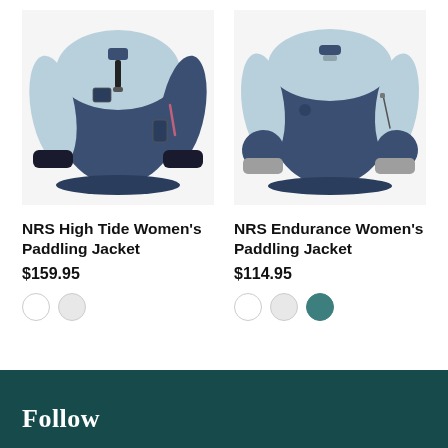[Figure (photo): NRS High Tide Women's Paddling Jacket - light blue and navy two-tone jacket with half-zip front]
NRS High Tide Women's Paddling Jacket
$159.95
[Figure (photo): NRS Endurance Women's Paddling Jacket - light blue and navy two-tone jacket, pullover style]
NRS Endurance Women's Paddling Jacket
$114.95
Follow